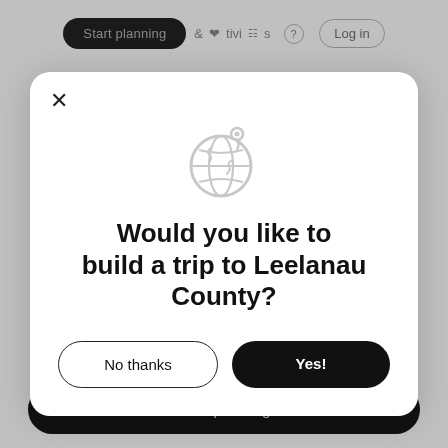Start planning   &   Activities   ?   Log in
[Figure (screenshot): Modal dialog overlaying a travel website. Contains a globe icon with location pin, bold question text, and two buttons.]
Would you like to build a trip to Leelanau County?
No thanks
Yes!
Start planning